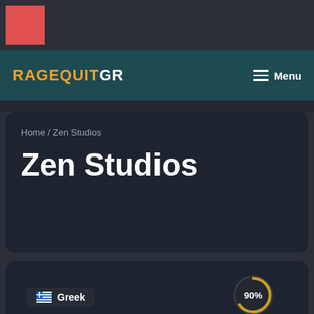[Figure (logo): Red square logo placeholder in top bar]
RageQuitGR  Menu
Home / Zen Studios
Zen Studios
[Figure (infographic): Score circle showing 90% and Greek language badge]
Greek